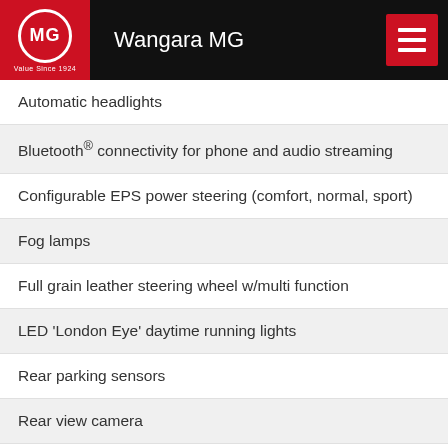Wangara MG
Automatic headlights
Bluetooth® connectivity for phone and audio streaming
Configurable EPS power steering (comfort, normal, sport)
Fog lamps
Full grain leather steering wheel w/multi function
LED 'London Eye' daytime running lights
Rear parking sensors
Rear view camera
Roof rails
Synthetic leather interior trim with contrast stitching